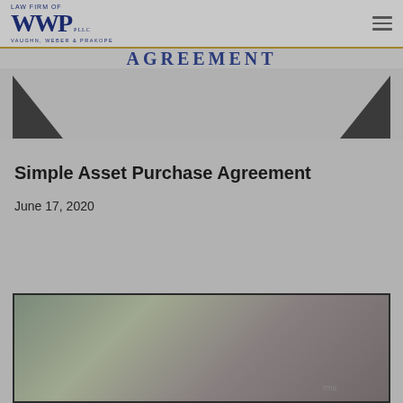LAW FIRM OF WWP PLLC · VAUGHN, WEBER & PRAKOPE
AGREEMENT
[Figure (illustration): Two decorative dark triangles, one in lower-left and one in lower-right of a gray banner area, serving as decorative design elements for the law firm website.]
Simple Asset Purchase Agreement
June 17, 2020
[Figure (photo): A photo showing a desk scene with documents and a book open, overlaid with gold bold text reading 'BUSINESS PURCHA...' and below 'SALES AGREEMENT'. A document icon and scroll-to-top button are visible in the corner.]